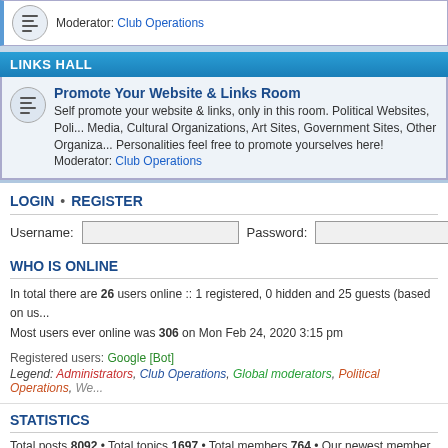Moderator: Club Operations
LINKS HALL
Promote Your Website & Links Room
Self promote your website & links, only in this room. Political Websites, Political Media, Cultural Organizations, Art Sites, Government Sites, Other Organizations, Personalities feel free to promote yourselves here!
Moderator: Club Operations
LOGIN • REGISTER
Username: [input] Password: [input]
WHO IS ONLINE
In total there are 26 users online :: 1 registered, 0 hidden and 25 guests (based on us...
Most users ever online was 306 on Mon Feb 24, 2020 3:15 pm
Registered users: Google [Bot]
Legend: Administrators, Club Operations, Global moderators, Political Operations, We...
STATISTICS
Total posts 8092 • Total topics 1697 • Total members 764 • Our newest member Avalo...
Board index
IPC operating since March 30, 2000